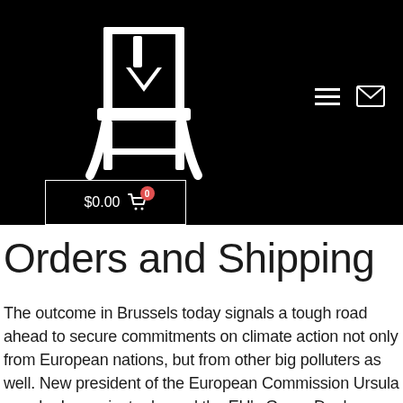[Figure (screenshot): Black header banner with white chair logo/icon on left, hamburger menu icon and envelope/mail icon on right, and a shopping cart button showing $0.00 with red badge showing 0]
Orders and Shipping
The outcome in Brussels today signals a tough road ahead to secure commitments on climate action not only from European nations, but from other big polluters as well. New president of the European Commission Ursula von der Leyen just released the EU's Green Deal on December 11, a sweeping package of policy